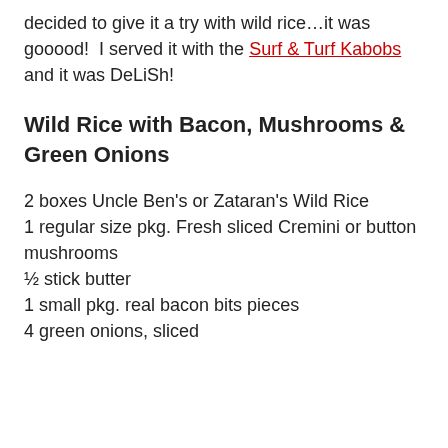decided to give it a try with wild rice…it was gooood!  I served it with the Surf & Turf Kabobs and it was DeLiSh!
Wild Rice with Bacon, Mushrooms & Green Onions
2 boxes Uncle Ben's or Zataran's Wild Rice
1 regular size pkg. Fresh sliced Cremini or button mushrooms
½ stick butter
1 small pkg. real bacon bits pieces
4 green onions, sliced